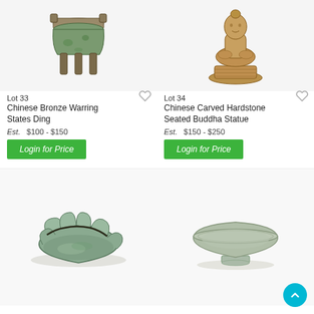[Figure (photo): Chinese Bronze Warring States Ding - antique bronze tripod vessel with handles and green patina]
Lot 33
Chinese Bronze Warring States Ding
Est.   $100 - $150
Login for Price
[Figure (photo): Chinese Carved Hardstone Seated Buddha Statue - golden brown carved wooden or hardstone seated Buddha on lotus base]
Lot 34
Chinese Carved Hardstone Seated Buddha Statue
Est.   $150 - $250
Login for Price
[Figure (photo): Celadon glazed lotus-form bowl with dark rim and mottled green glaze]
[Figure (photo): Celadon glazed shallow bowl on low foot, pale grey-green glaze]